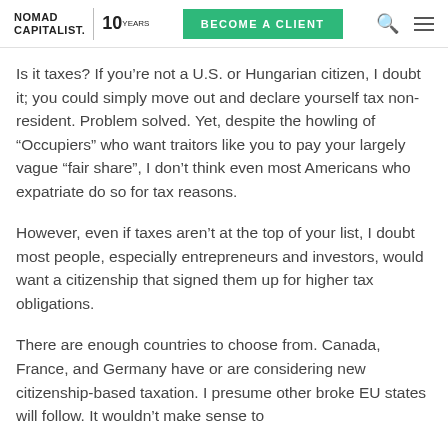NOMAD CAPITALIST. 10 YEARS | BECOME A CLIENT
Is it taxes?  If you're not a U.S. or Hungarian citizen, I doubt it; you could simply move out and declare yourself tax non-resident.  Problem solved.  Yet, despite the howling of “Occupiers” who want traitors like you to pay your largely vague “fair share”, I don’t think even most Americans who expatriate do so for tax reasons.
However, even if taxes aren’t at the top of your list, I doubt most people, especially entrepreneurs and investors, would want a citizenship that signed them up for higher tax obligations.
There are enough countries to choose from.  Canada, France, and Germany have or are considering new citizenship-based taxation.  I presume other broke EU states will follow.  It wouldn’t make sense to